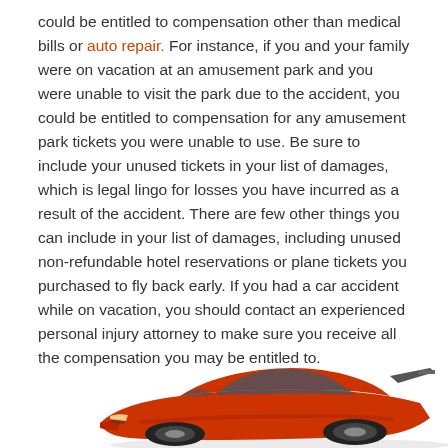could be entitled to compensation other than medical bills or auto repair. For instance, if you and your family were on vacation at an amusement park and you were unable to visit the park due to the accident, you could be entitled to compensation for any amusement park tickets you were unable to use. Be sure to include your unused tickets in your list of damages, which is legal lingo for losses you have incurred as a result of the accident. There are few other things you can include in your list of damages, including unused non-refundable hotel reservations or plane tickets you purchased to fly back early. If you had a car accident while on vacation, you should contact an experienced personal injury attorney to make sure you receive all the compensation you may be entitled to.
[Figure (illustration): Illustration of a red sports car (low-profile, supercar style) viewed from a front-side angle, partially cropped at bottom of page.]